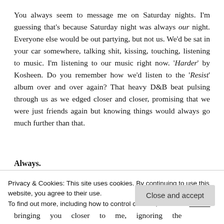You always seem to message me on Saturday nights. I'm guessing that's because Saturday night was always our night. Everyone else would be out partying, but not us. We'd be sat in your car somewhere, talking shit, kissing, touching, listening to music. I'm listening to our music right now. 'Harder' by Kosheen. Do you remember how we'd listen to the 'Resist' album over and over again? That heavy D&B beat pulsing through us as we edged closer and closer, promising that we were just friends again but knowing things would always go much further than that.
Always.
Privacy & Cookies: This site uses cookies. By continuing to use this website, you agree to their use.
To find out more, including how to control cookies, see here: Cookie Policy
bringing you closer to me, ignoring the